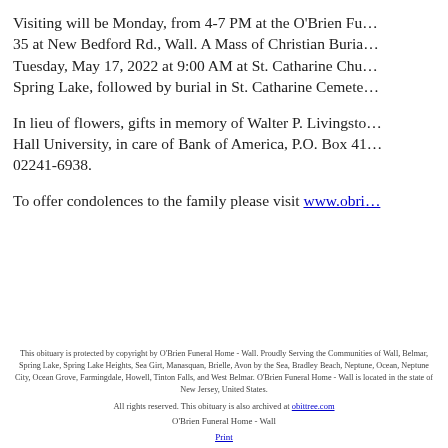Visiting will be Monday, from 4-7 PM at the O'Brien Fu... 35 at New Bedford Rd., Wall. A Mass of Christian Buria... Tuesday, May 17, 2022 at 9:00 AM at St. Catharine Chu... Spring Lake, followed by burial in St. Catharine Cemete...
In lieu of flowers, gifts in memory of Walter P. Livingsto... Hall University, in care of Bank of America, P.O. Box 41... 02241-6938.
To offer condolences to the family please visit www.obri...
This obituary is protected by copyright by O'Brien Funeral Home - Wall. Proudly Serving the Communities of Wall, Belmar, Spring Lake, Spring Lake Heights, Sea Girt, Manasquan, Brielle, Avon by the Sea, Bradley Beach, Neptune, Ocean, Neptune City, Ocean Grove, Farmingdale, Howell, Tinton Falls, and West Belmar. O'Brien Funeral Home - Wall is located in the state of New Jersey, United States.
All rights reserved. This obituary is also archived at obittree.com
O'Brien Funeral Home - Wall
Print